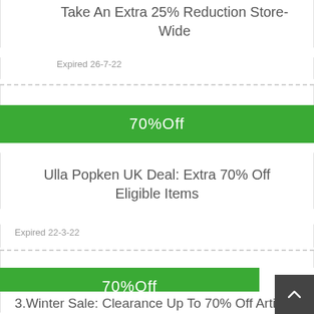Take An Extra 25% Reduction Store-Wide
Expired 26-7-22
70%Off
Ulla Popken UK Deal: Extra 70% Off Eligible Items
Expired 22-3-22
70%Off
3.Winter Sale: Clearance Up To 70% Off Articles